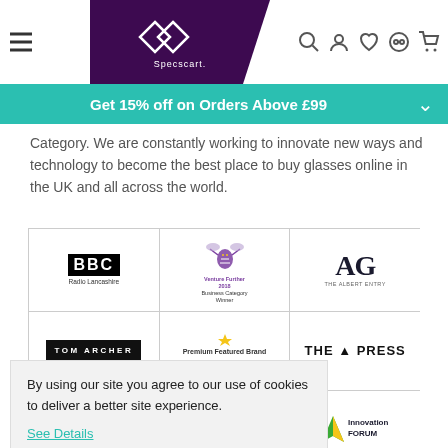Specscart header with logo, hamburger menu, and icons (search, account, wishlist, try-on, cart)
Get 15% off on Orders Above £99
Category. We are constantly working to innovate new ways and technology to become the best place to buy glasses online in the UK and all across the world.
[Figure (logo): Grid of media/press logos: BBC Radio Lancashire, Venture Further 2018 Business Category Winner (bee logo), AG The Albert Entry, Tom Archer, Premium Featured Brand Amazon, THE PRESS, The Bolton News, The Argus, Innovation Forum]
By using our site you agree to our use of cookies to deliver a better site experience.
See Details
Got it